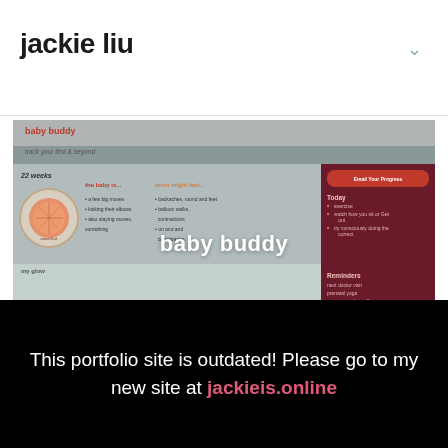jackie liu
[Figure (screenshot): Screenshot of 'baby buddy' pregnancy app interface showing week tracker with grapefruit size comparison, symptom columns, email progress button, today's tasks sidebar, and reminders. Overlaid with large white text 'baby buddy'. Below shows a food logging interface with smiley face, pill/tablet, and tomato icons.]
[Figure (screenshot): Partially visible second screenshot, mostly gray/obscured.]
This portfolio site is outdated! Please go to my new site at jackieis.online